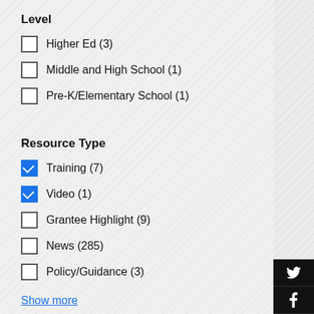Level
Higher Ed (3)
Middle and High School (1)
Pre-K/Elementary School (1)
Resource Type
Training (7)
Video (1)
Grantee Highlight (9)
News (285)
Policy/Guidance (3)
Show more
Role
School/District Administrators (1)